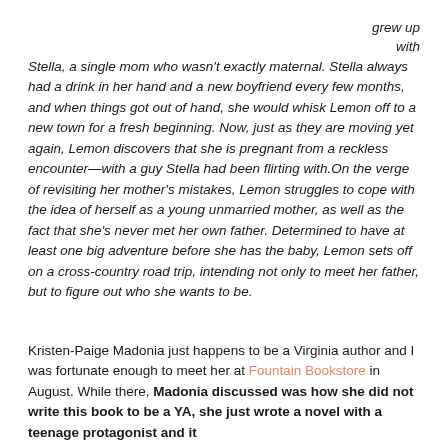grew up with Stella, a single mom who wasn't exactly maternal. Stella always had a drink in her hand and a new boyfriend every few months, and when things got out of hand, she would whisk Lemon off to a new town for a fresh beginning. Now, just as they are moving yet again, Lemon discovers that she is pregnant from a reckless encounter—with a guy Stella had been flirting with.On the verge of revisiting her mother's mistakes, Lemon struggles to cope with the idea of herself as a young unmarried mother, as well as the fact that she's never met her own father. Determined to have at least one big adventure before she has the baby, Lemon sets off on a cross-country road trip, intending not only to meet her father, but to figure out who she wants to be.
Kristen-Paige Madonia just happens to be a Virginia author and I was fortunate enough to meet her at Fountain Bookstore in August. While there, Madonia discussed was how she did not write this book to be a YA, she just wrote a novel with a teenage protagonist and it